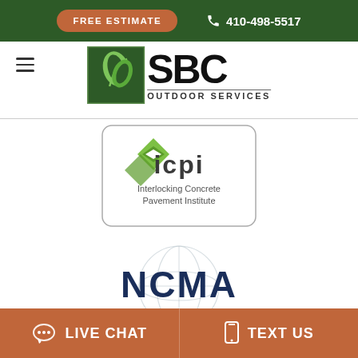FREE ESTIMATE  410-498-5517
[Figure (logo): SBC Outdoor Services logo — dark green square icon with leaf, bold SBC text and OUTDOOR SERVICES subtitle]
[Figure (logo): ICPI — Interlocking Concrete Pavement Institute logo in a rounded rectangle border]
[Figure (logo): NCMA — National Contract Management Association logo with globe watermark]
LIVE CHAT  TEXT US